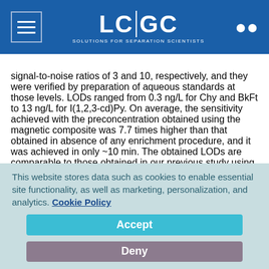LC|GC — Solutions for Separation Scientists
signal-to-noise ratios of 3 and 10, respectively, and they were verified by preparation of aqueous standards at those levels. LODs ranged from 0.3 ng/L for Chy and BkFt to 13 ng/L for I(1,2,3-cd)Py. On average, the sensitivity achieved with the preconcentration obtained using the magnetic composite was 7.7 times higher than that obtained in absence of any enrichment procedure, and it was achieved in only ~10 min. The obtained LODs are comparable to those obtained in our previous study using a magnetic composite based on MOF…
This website stores data such as cookies to enable essential site functionality, as well as marketing, personalization, and analytics. Cookie Policy
Accept
Deny